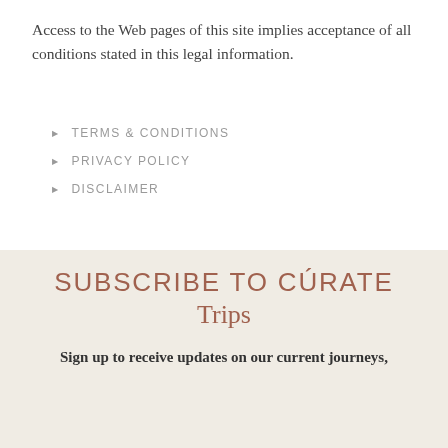Access to the Web pages of this site implies acceptance of all conditions stated in this legal information.
TERMS & CONDITIONS
PRIVACY POLICY
DISCLAIMER
SUBSCRIBE TO CÚRATE Trips
Sign up to receive updates on our current journeys,